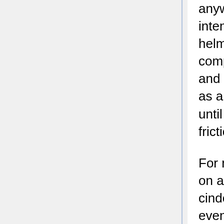anyway. It's best to deploy it in a container as intended by upstream. Two methods are offered: helm (for HA production deployments) and docker-compose (for people using compose in production and every other use case). Since we don't have swift as a backend for storage yet, we should not use helm until we do. When we do, that's probably the lowest-friction method.
For now, keeping the docker-compose installer setup on a cinder volume seems sensible, especially if that cinder volume gets backed up or snapshotted eventually. The cinder volume will also hold the images, redis snaps and so forth until we have appropriate storage.
If you aren't running harbor for testing, you want to have the postgresql database separate and replicated. Redis